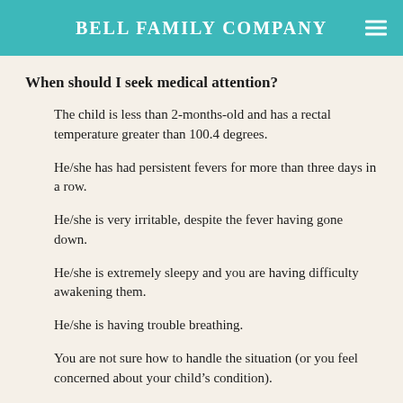BELL FAMILY COMPANY
When should I seek medical attention?
The child is less than 2-months-old and has a rectal temperature greater than 100.4 degrees.
He/she has had persistent fevers for more than three days in a row.
He/she is very irritable, despite the fever having gone down.
He/she is extremely sleepy and you are having difficulty awakening them.
He/she is having trouble breathing.
You are not sure how to handle the situation (or you feel concerned about your child’s condition).
Remember, treating the fever with a fever reducer will bring down your child’s temperature, but does not take care of the underlying illness. It is likely that once the medication